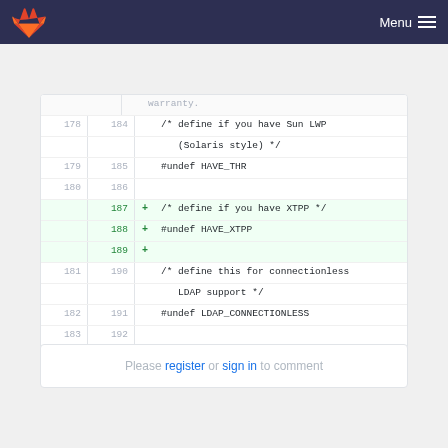Menu
[Figure (screenshot): GitLab code diff view showing lines 178-192 of a C header file with additions for XTPP support (lines 187-189)]
Please register or sign in to comment